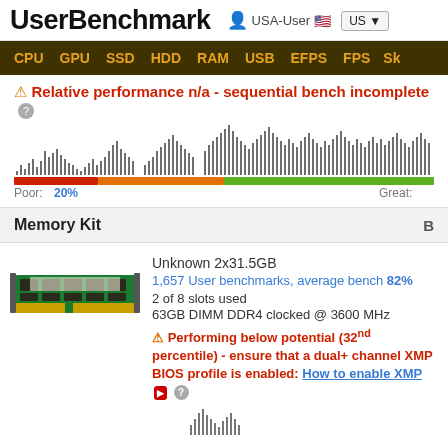UserBenchmark  USA-User  US
CPU  GPU  SSD  HDD  RAM  USB  EFPS  FPS  Sk
⚠ Relative performance n/a - sequential bench incomplete
[Figure (histogram): Distribution histogram showing benchmark percentile spread with colored bar below (red, orange, green gradient). Poor: 20%  Great:]
Memory Kit  B
[Figure (photo): RAM stick - green PCB memory module]
Unknown 2x31.5GB
1,657 User benchmarks, average bench 82%
2 of 8 slots used
63GB DIMM DDR4 clocked @ 3600 MHz
⚠ Performing below potential (32nd percentile) - ensure that a dual+ channel XMP BIOS profile is enabled: How to enable XMP
[Figure (histogram): Small distribution histogram at bottom of memory section]